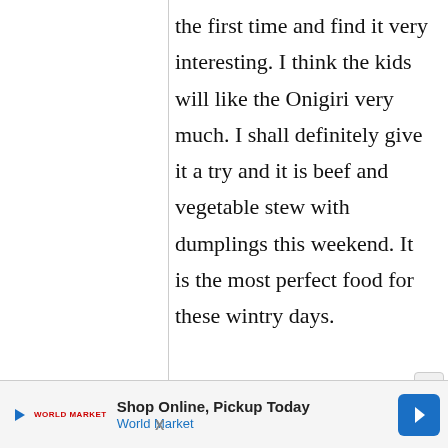the first time and find it very interesting. I think the kids will like the Onigiri very much. I shall definitely give it a try and it is beef and vegetable stew with dumplings this weekend. It is the most perfect food for these wintry days.
[Figure (other): Advertisement banner: Shop Online, Pickup Today - World Market with play button and navigation arrow icon]